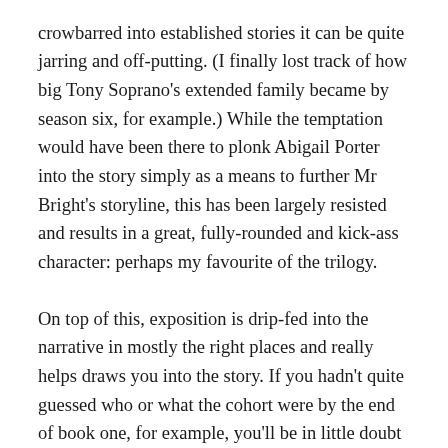crowbarred into established stories it can be quite jarring and off-putting. (I finally lost track of how big Tony Soprano's extended family became by season six, for example.) While the temptation would have been there to plonk Abigail Porter into the story simply as a means to further Mr Bright's storyline, this has been largely resisted and results in a great, fully-rounded and kick-ass character: perhaps my favourite of the trilogy.
On top of this, exposition is drip-fed into the narrative in mostly the right places and really helps draws you into the story. If you hadn't quite guessed who or what the cohort were by the end of book one, for example, you'll be in little doubt by the end of this one.
There are issues to overlook, however. We have the re-